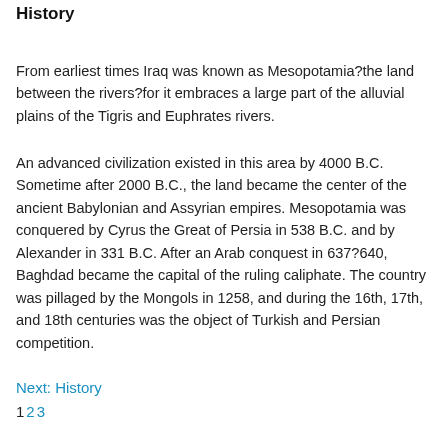History
From earliest times Iraq was known as Mesopotamia?the land between the rivers?for it embraces a large part of the alluvial plains of the Tigris and Euphrates rivers.
An advanced civilization existed in this area by 4000 B.C. Sometime after 2000 B.C., the land became the center of the ancient Babylonian and Assyrian empires. Mesopotamia was conquered by Cyrus the Great of Persia in 538 B.C. and by Alexander in 331 B.C. After an Arab conquest in 637?640, Baghdad became the capital of the ruling caliphate. The country was pillaged by the Mongols in 1258, and during the 16th, 17th, and 18th centuries was the object of Turkish and Persian competition.
Next: History
1 2 3